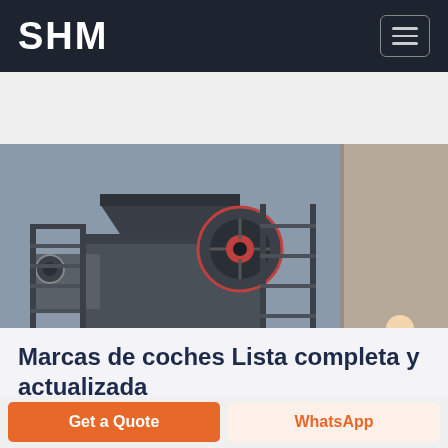SHM
[Figure (photo): Industrial heavy machinery / jaw crusher on a steel platform structure against a concrete background]
[Figure (other): Free chat badge with person illustration in upper right of image]
Marcas de coches Lista completa y actualizada
04 12 2018  Marcas que más venden en España Según datos publicados por las asociaciones
Get a Quote
WhatsApp